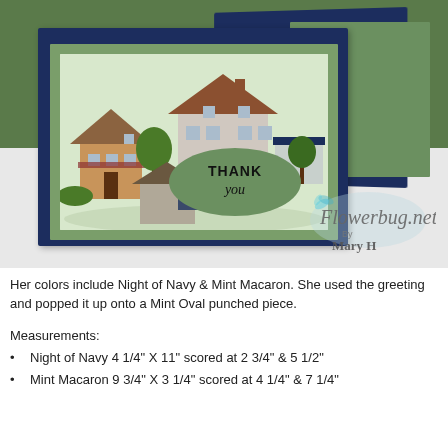[Figure (photo): A handmade greeting card with Night of Navy and Mint Macaron layers. The card features an illustrated neighborhood scene with houses and trees. A green oval with 'THANK you' text is stamped on the front. The card rests against a dark navy card base with a green background behind. A Flowerbug.net by Mary H watermark is visible in the lower right of the photo.]
Her colors include Night of Navy & Mint Macaron. She used the greeting and popped it up onto a Mint Oval punched piece.
Measurements:
Night of Navy 4 1/4" X 11" scored at 2 3/4" & 5 1/2"
Mint Macaron 9 3/4" X 3 1/4" scored at 4 1/4" & 7 1/4"